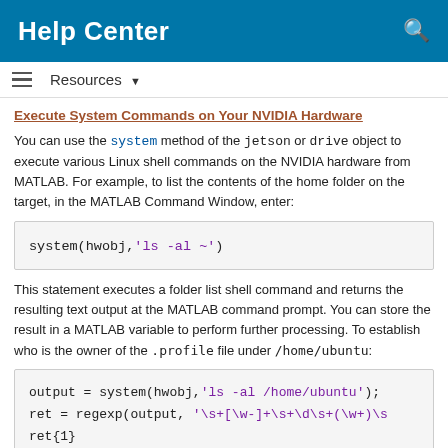Help Center
Execute System Commands on Your NVIDIA Hardware
You can use the system method of the jetson or drive object to execute various Linux shell commands on the NVIDIA hardware from MATLAB. For example, to list the contents of the home folder on the target, in the MATLAB Command Window, enter:
system(hwobj,'ls -al ~')
This statement executes a folder list shell command and returns the resulting text output at the MATLAB command prompt. You can store the result in a MATLAB variable to perform further processing. To establish who is the owner of the .profile file under /home/ubuntu:
output = system(hwobj,'ls -al /home/ubuntu');
ret = regexp(output, '\s+[\w-]+\s+\d\s+(\w+)\s
ret{1}